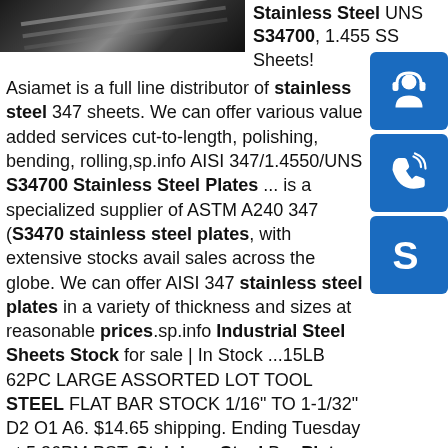[Figure (photo): Photo of stainless steel sheets/bars arranged diagonally]
Stainless Steel UNS S34700, 1.455 SS Sheets!
[Figure (infographic): Blue sidebar with headset icon (customer service), phone icon, and Skype icon]
Asiamet is a full line distributor of stainless steel 347 sheets. We can offer various value added services cut-to-length, polishing, bending, rolling,sp.info AISI 347/1.4550/UNS S34700 Stainless Steel Plates ... is a specialized supplier of ASTM A240 347 (S34700 stainless steel plates, with extensive stocks available for sales across the globe. We can offer AISI 347 stainless steel plates in a variety of thickness and sizes at reasonable prices.sp.info Industrial Steel Sheets Stock for sale | In Stock ...15LB 62PC LARGE ASSORTED LOT TOOL STEEL FLAT BAR STOCK 1/16" TO 1-1/32" D2 O1 A6. $14.65 shipping. Ending Tuesday at 5:36PM PST. Stainless Steel Bar Plate, sheet 1/8" x 6" x 10" 304. 8.5LB ASSORTED LOT TOOL STEEL FLAT BAR STOCK 3/16" TO 5/8" SELECT B A2 A6 D2. $14.65 shipping. Ending Thursday at 5:10PM PST. Steel Rectangular Tubing 3"X 6" X 3 ...sp.info A240